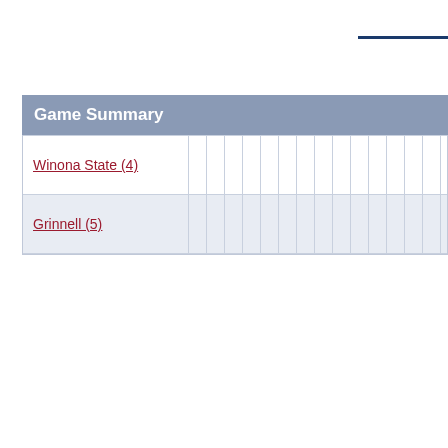Game Summary
| Team |  |  |  |  |  |  |  |  |  |  |  |  |  |  |  |  |  |  |  |  |
| --- | --- | --- | --- | --- | --- | --- | --- | --- | --- | --- | --- | --- | --- | --- | --- | --- | --- | --- | --- | --- |
| Winona State (4) |  |  |  |  |  |  |  |  |  |  |  |  |  |  |  |  |  |  |  |  |
| Grinnell (5) |  |  |  |  |  |  |  |  |  |  |  |  |  |  |  |  |  |  |  |  |